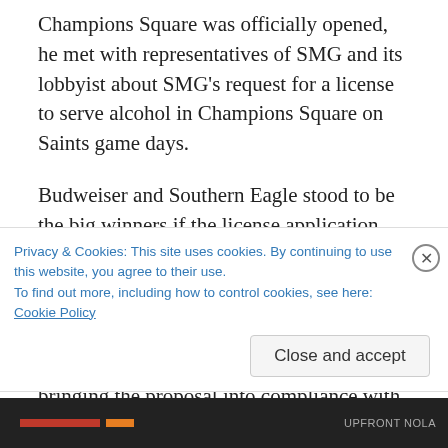Champions Square was officially opened, he met with representatives of SMG and its lobbyist about SMG's request for a license to serve alcohol in Champions Square on Saints game days.
Budweiser and Southern Eagle stood to be the big winners if the license application was approved.
Painter says in his lawsuit that he informed SMG of several regulatory violations in its proposal and offered suggestions on bringing the proposal into compliance with state laws. SMG's subsequent license proposal, however
Privacy & Cookies: This site uses cookies. By continuing to use this website, you agree to their use.
To find out more, including how to control cookies, see here: Cookie Policy
Close and accept